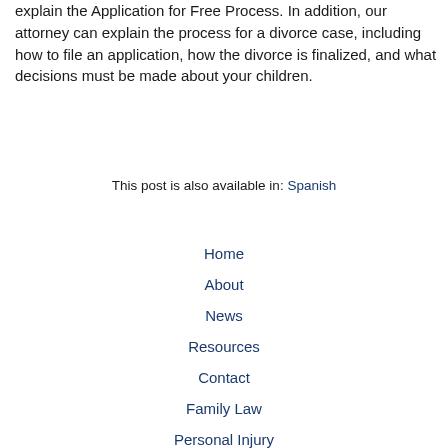explain the Application for Free Process. In addition, our attorney can explain the process for a divorce case, including how to file an application, how the divorce is finalized, and what decisions must be made about your children.
This post is also available in: Spanish
Home
About
News
Resources
Contact
Family Law
Personal Injury